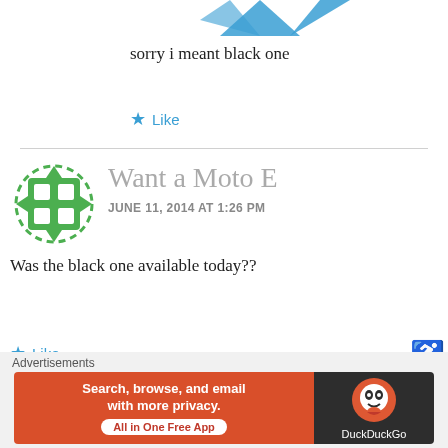[Figure (illustration): Partial view of blue arrow/emoji icons at top of page (cropped)]
sorry i meant black one
★ Like
[Figure (illustration): Green avatar icon with grid/window design and dashed circular border]
Want a Moto E
JUNE 11, 2014 AT 1:26 PM
Was the black one available today??
★ Like
Advertisements
[Figure (screenshot): DuckDuckGo advertisement banner: 'Search, browse, and email with more privacy. All in One Free App' on orange background with DuckDuckGo logo on dark background]